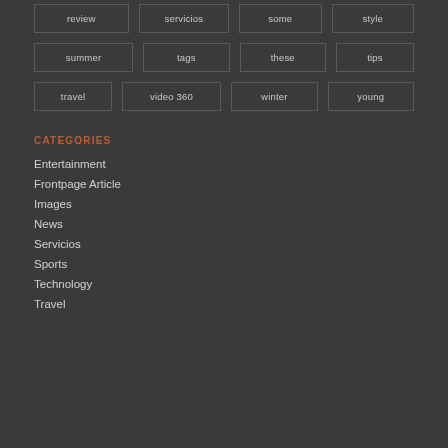review
servicios
some
style
summer
tags
these
tips
travel
video 360
winter
young
CATEGORIES
Entertainment
Frontpage Article
Images
News
Servicios
Sports
Technology
Travel